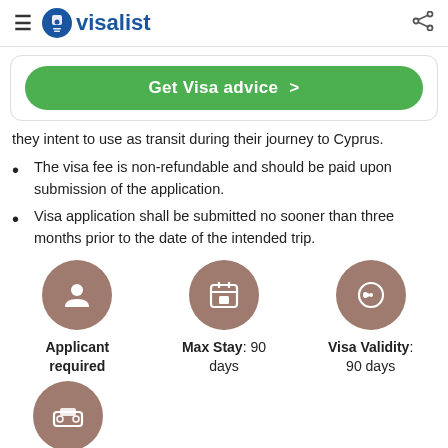≡ visalist
Get Visa advice >
they intent to use as transit during their journey to Cyprus.
The visa fee is non-refundable and should be paid upon submission of the application.
Visa application shall be submitted no sooner than three months prior to the date of the intended trip.
[Figure (infographic): Three circular brown icons representing: Applicant required, Max Stay: 90 days, Visa Validity: 90 days]
[Figure (infographic): Circular brown icon representing short Stay]